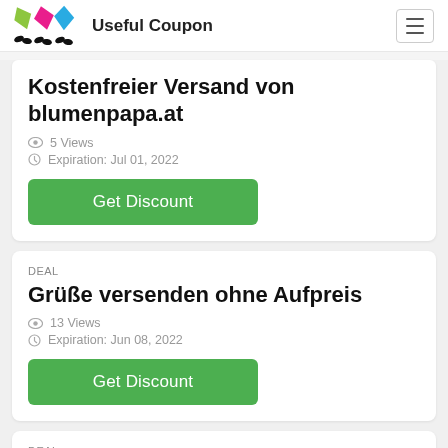Useful Coupon
Kostenfreier Versand von blumenpapa.at
5 Views
Expiration: Jul 01, 2022
Get Discount
DEAL
Grüße versenden ohne Aufpreis
13 Views
Expiration: Jun 08, 2022
Get Discount
DEAL